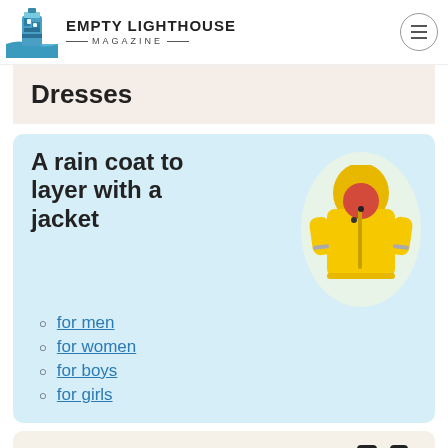EMPTY LIGHTHOUSE MAGAZINE
Dresses
A rain coat to layer with a jacket
[Figure (photo): Yellow children's rain jacket with reflective strips and hood]
for men
for women
for boys
for girls
100% waterproof